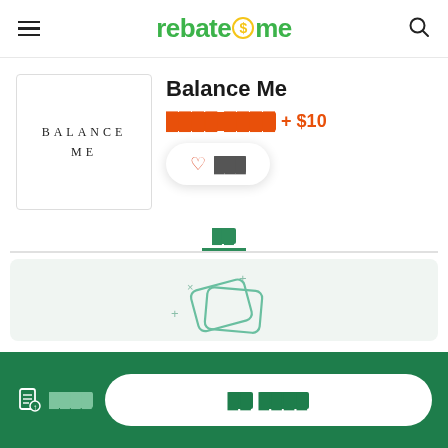rebate$me
[Figure (logo): Balance Me brand logo — text BALANCE ME in spaced serif capitals]
Balance Me
████ ████ + $10
♡ ███
██
[Figure (illustration): Teal card/tag icons with plus and x decorative marks on light green background]
████
██ ████